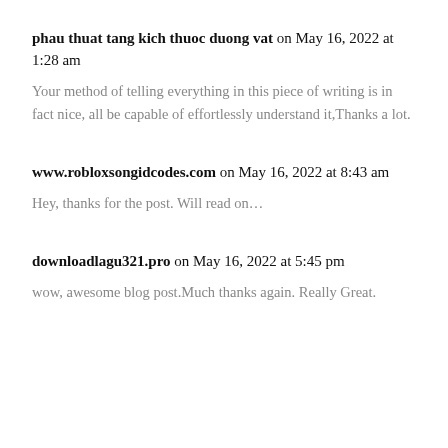phau thuat tang kich thuoc duong vat on May 16, 2022 at 1:28 am
Your method of telling everything in this piece of writing is in fact nice, all be capable of effortlessly understand it,Thanks a lot.
www.robloxsongidcodes.com on May 16, 2022 at 8:43 am
Hey, thanks for the post. Will read on…
downloadlagu321.pro on May 16, 2022 at 5:45 pm
wow, awesome blog post.Much thanks again. Really Great.